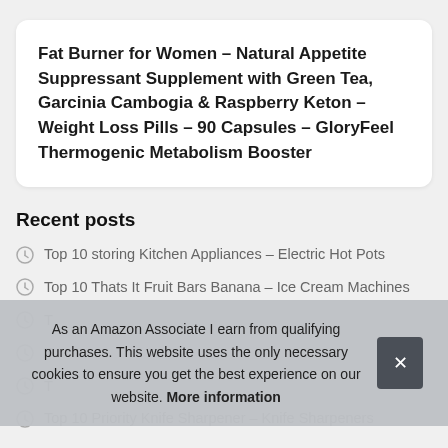Fat Burner for Women – Natural Appetite Suppressant Supplement with Green Tea, Garcinia Cambogia & Raspberry Keton – Weight Loss Pills – 90 Capsules – GloryFeel Thermogenic Metabolism Booster
Recent posts
Top 10 storing Kitchen Appliances – Electric Hot Pots
Top 10 Thats It Fruit Bars Banana – Ice Cream Machines
T…
T…
T…
Top 10 Priority Knife Sharpener – Knife Sharpeners
As an Amazon Associate I earn from qualifying purchases. This website uses the only necessary cookies to ensure you get the best experience on our website. More information